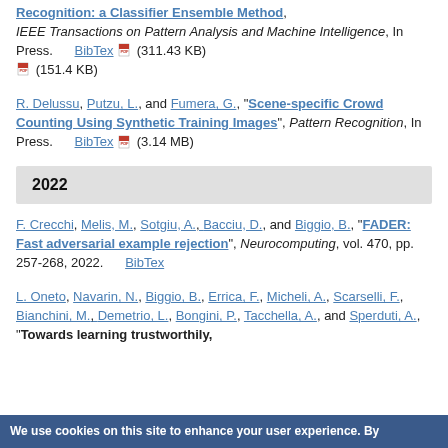Recognition: a Classifier Ensemble Method", IEEE Transactions on Pattern Analysis and Machine Intelligence, In Press. BibTex (311.43 KB) (151.4 KB)
R. Delussu, Putzu, L., and Fumera, G., "Scene-specific Crowd Counting Using Synthetic Training Images", Pattern Recognition, In Press. BibTex (3.14 MB)
2022
F. Crecchi, Melis, M., Sotgiu, A., Bacciu, D., and Biggio, B., "FADER: Fast adversarial example rejection", Neurocomputing, vol. 470, pp. 257-268, 2022. BibTex
L. Oneto, Navarin, N., Biggio, B., Errica, F., Micheli, A., Scarselli, F., Bianchini, M., Demetrio, L., Bongini, P., Tacchella, A., and Sperduti, A., "Towards learning trustworthily,
We use cookies on this site to enhance your user experience. By